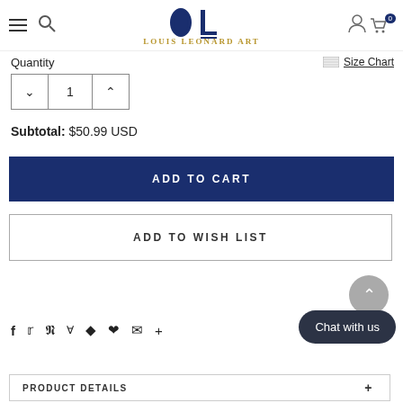Louis Leonard Art — navigation header with hamburger menu, search, logo, user icon, and cart (0)
Quantity
Size Chart
1
Subtotal:  $50.99 USD
ADD TO CART
ADD TO WISH LIST
Social share icons: Facebook, Twitter, Pinterest, Grid, Fancy, Like, Email, Plus
Chat with us
PRODUCT DETAILS